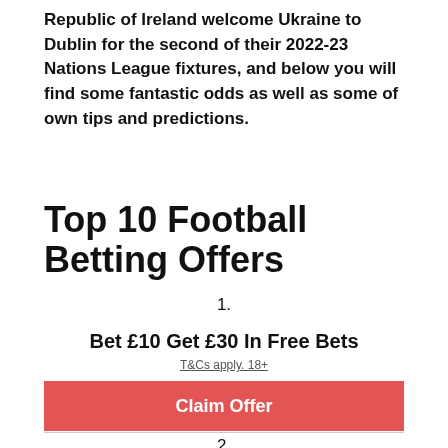Republic of Ireland welcome Ukraine to Dublin for the second of their 2022-23 Nations League fixtures, and below you will find some fantastic odds as well as some of own tips and predictions.
Top 10 Football Betting Offers
1.
Bet £10 Get £30 In Free Bets
T&Cs apply. 18+
Claim Offer
2.
Bet £10 Get £30 In Free Bets + £10 Casino Bonus